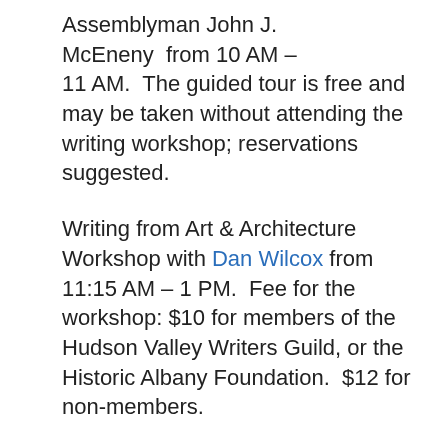Assemblyman John J. McEneny from 10 AM – 11 AM. The guided tour is free and may be taken without attending the writing workshop; reservations suggested.
Writing from Art & Architecture Workshop with Dan Wilcox from 11:15 AM – 1 PM. Fee for the workshop: $10 for members of the Hudson Valley Writers Guild, or the Historic Albany Foundation. $12 for non-members.
To register or for more information, send an email cphilo@nycap.rr.com, or call 518-459-3266
Sponsored by Hudson Valley Writers Guild and Historic Albany Foundation and funded with an